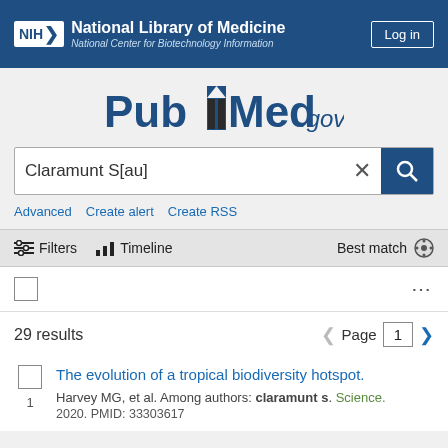NIH National Library of Medicine National Center for Biotechnology Information | Log in
[Figure (logo): PubMed.gov logo with stylized open book icon]
Claramunt S[au]
Advanced   Create alert   Create RSS
Filters   Timeline   Best match
29 results   Page 1
The evolution of a tropical biodiversity hotspot.
Harvey MG, et al. Among authors: claramunt s. Science. 2020. PMID: 33303617